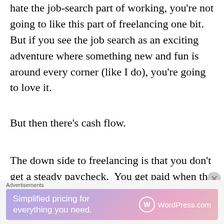hate the job-search part of working, you're not going to like this part of freelancing one bit.  But if you see the job search as an exciting adventure where something new and fun is around every corner (like I do), you're going to love it.
But then there's cash flow.
The down side to freelancing is that you don't get a steady paycheck.  You get paid when the work is finished.  If you're a subcontractor
Advertisements
[Figure (other): WordPress.com advertisement banner: 'Simplified pricing for everything you need.' with WordPress.com logo on gradient purple-pink background]